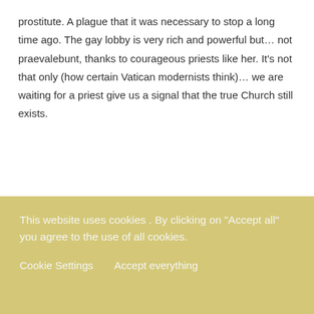prostitute. A plague that it was necessary to stop a long time ago. The gay lobby is very rich and powerful but… not praevalebunt, thanks to courageous priests like her. It's not that only (how certain Vatican modernists think)… we are waiting for a priest give us a signal that the true Church still exists.
gabriele
This website uses cookies . By clicking on "Accept all" you agree to the use of all cookies.
Cookie Settings    Accept everything